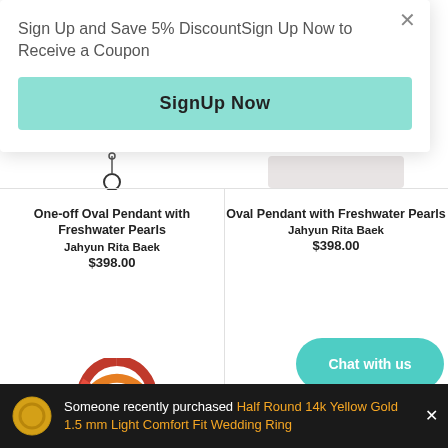Sign Up and Save 5% DiscountSign Up Now to Receive a Coupon
SignUp Now
One-off Oval Pendant with Freshwater Pearls
Jahyun Rita Baek
$398.00
Oval Pendant with Freshwater Pearls
Jahyun Rita Baek
$398.00
[Figure (photo): Colorful beaded hoop earring with floral beadwork]
[Figure (photo): Silver wire ear cuff jewelry]
Someone recently purchased Half Round 14k Yellow Gold 1.5 mm Light Comfort Fit Wedding Ring